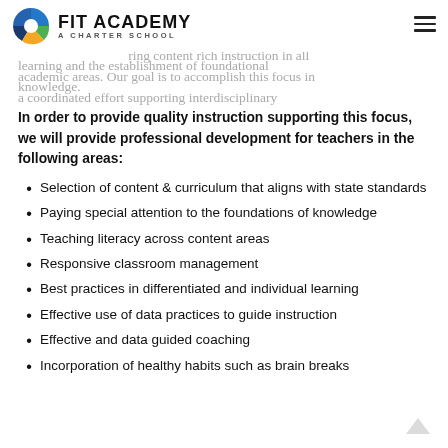FIT ACADEMY A CHARTER SCHOOL
students beyond their comfort zone. Our curricular focus is to implement research based instructional [strategies ensuring content rich instruction in all academic areas]. Our goal is to accomplish this focus in a coordinated effort supporting interdisciplinary learning and the establishment of foundational knowledge.
In order to provide quality instruction supporting this focus, we will provide professional development for teachers in the following areas:
Selection of content & curriculum that aligns with state standards
Paying special attention to the foundations of knowledge
Teaching literacy across content areas
Responsive classroom management
Best practices in differentiated and individual learning
Effective use of data practices to guide instruction
Effective and data guided coaching
Incorporation of healthy habits such as brain breaks